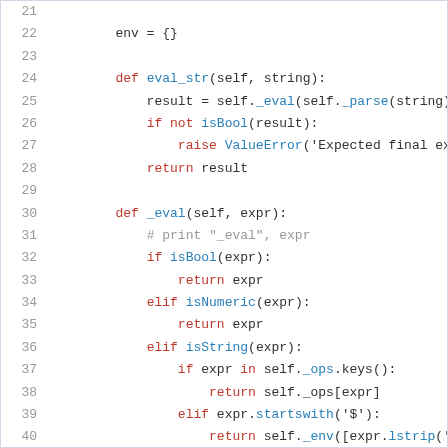[Figure (screenshot): Python source code listing, lines 21-43, showing class methods eval_str and _eval with syntax highlighting. Keywords in red, function names in blue, comments in gray, other code in dark/black.]